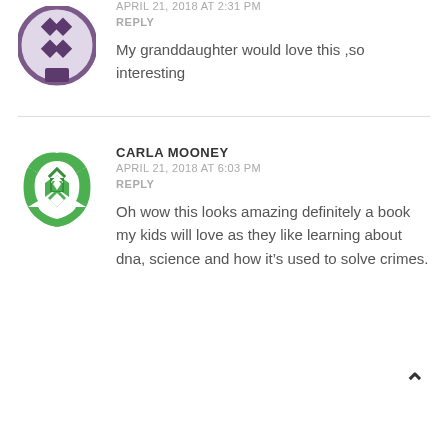[Figure (illustration): Purple geometric pattern avatar icon, partially cropped at top]
APRIL 21, 2018 AT 2:31 PM
REPLY
My granddaughter would love this ,so interesting
[Figure (illustration): Green geometric pattern avatar icon (circular) for Carla Mooney]
CARLA MOONEY
APRIL 21, 2018 AT 6:03 PM
REPLY
Oh wow this looks amazing definitely a book my kids will love as they like learning about dna, science and how it's used to solve crimes.